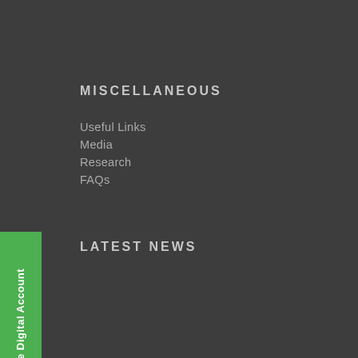MISCELLANEOUS
Useful Links
Media
Research
FAQs
LATEST NEWS
Open Online Digital Account